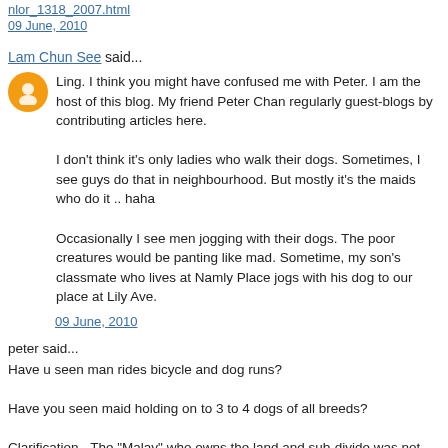nlor_1318_2007.html
09 June, 2010
Lam Chun See said...
Ling. I think you might have confused me with Peter. I am the host of this blog. My friend Peter Chan regularly guest-blogs by contributing articles here.
I don't think it's only ladies who walk their dogs. Sometimes, I see guys do that in neighbourhood. But mostly it's the maids who do it .. haha
Occasionally I see men jogging with their dogs. The poor creatures would be panting like mad. Sometime, my son's classmate who lives at Namly Place jogs with his dog to our place at Lily Ave.
09 June, 2010
peter said...
Have u seen man rides bicycle and dog runs?
Have you seen maid holding on to 3 to 4 dogs of all breeds?
Clarification - The "Malay" who owns the land and sub-divide was not Philip Hoalim. Philip bought a sub-plot from that "Malay". There is a sweet tale about a special name given to that kampung house but some other time I tell the story.......The family is linked to some one very well known in Singapore. You never can guess it.